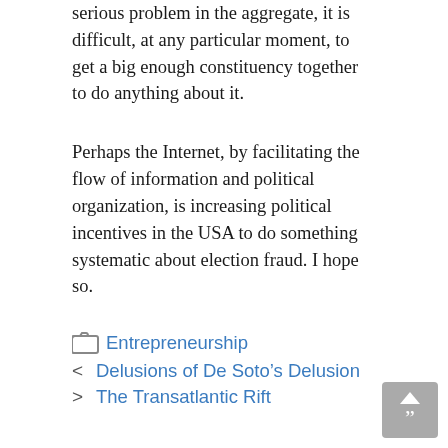serious problem in the aggregate, it is difficult, at any particular moment, to get a big enough constituency together to do anything about it.
Perhaps the Internet, by facilitating the flow of information and political organization, is increasing political incentives in the USA to do something systematic about election fraud. I hope so.
Entrepreneurship
Delusions of De Soto's Delusion
The Transatlantic Rift
10 thoughts on “I’d like to know . . .